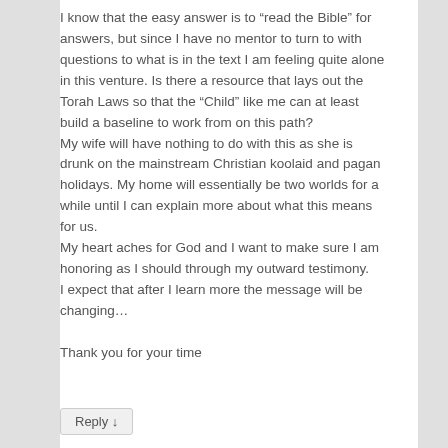I know that the easy answer is to “read the Bible” for answers, but since I have no mentor to turn to with questions to what is in the text I am feeling quite alone in this venture. Is there a resource that lays out the Torah Laws so that the “Child” like me can at least build a baseline to work from on this path?
My wife will have nothing to do with this as she is drunk on the mainstream Christian koolaid and pagan holidays. My home will essentially be two worlds for a while until I can explain more about what this means for us.
My heart aches for God and I want to make sure I am honoring as I should through my outward testimony.
I expect that after I learn more the message will be changing…

Thank you for your time
Reply ↓